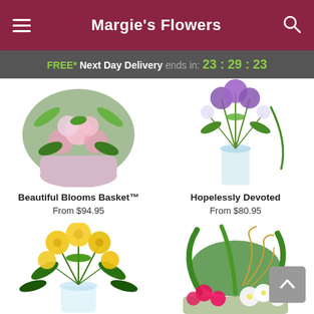Margie's Flowers
FREE* Next Day Delivery ends in: 23:29:23
[Figure (photo): Beautiful Blooms Basket flower arrangement in decorative container with mixed pink and white flowers and greenery]
Beautiful Blooms Basket™
From $94.95
[Figure (photo): Hopelessly Devoted flower arrangement with purple and white flowers in a tall glass vase]
Hopelessly Devoted
From $80.95
[Figure (photo): Yellow roses and tulips arrangement in a clear glass vase]
[Figure (photo): Mixed tropical plant arrangement with pink and white flowers, green foliage and curly gold branches]